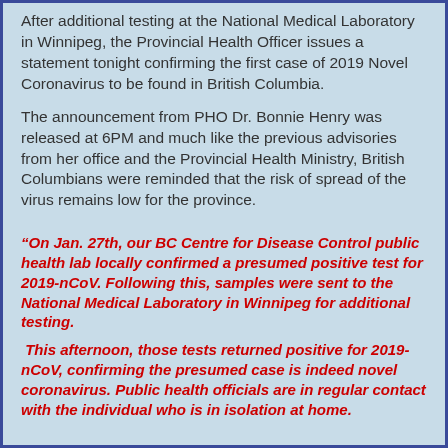After additional testing at the National Medical Laboratory in Winnipeg, the Provincial Health Officer issues a statement tonight confirming the first case of 2019 Novel Coronavirus to be found in British Columbia.
The announcement from PHO Dr. Bonnie Henry was released at 6PM and much like the previous advisories from her office and the Provincial Health Ministry, British Columbians were reminded that the risk of spread of the virus remains low for the province.
“On Jan. 27th, our BC Centre for Disease Control public health lab locally confirmed a presumed positive test for 2019-nCoV. Following this, samples were sent to the National Medical Laboratory in Winnipeg for additional testing.
This afternoon, those tests returned positive for 2019-nCoV, confirming the presumed case is indeed novel coronavirus. Public health officials are in regular contact with the individual who is in isolation at home.